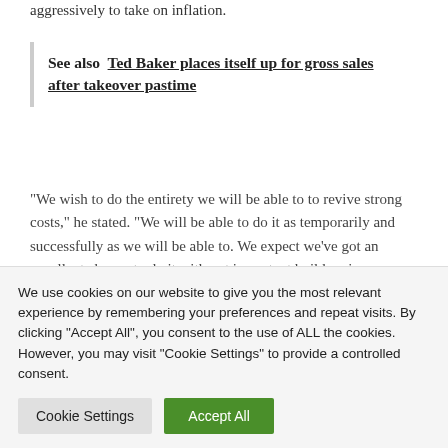aggressively to take on inflation.
See also  Ted Baker places itself up for gross sales after takeover pastime
“We wish to do the entirety we will be able to to revive strong costs,” he stated. “We will be able to do it as temporarily and successfully as we will be able to. We expect we’ve got an excellent chance to do it with out important build up in unemployment or sharp slowdown
We use cookies on our website to give you the most relevant experience by remembering your preferences and repeat visits. By clicking “Accept All”, you consent to the use of ALL the cookies. However, you may visit "Cookie Settings" to provide a controlled consent.